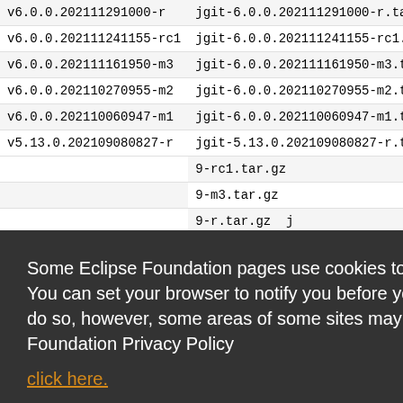| version | filename |
| --- | --- |
| v6.0.0.202111291000-r | jgit-6.0.0.202111291000-r.tar.gz |
| v6.0.0.202111241155-rc1 | jgit-6.0.0.202111241155-rc1.tar.gz |
| v6.0.0.202111161950-m3 | jgit-6.0.0.202111161950-m3.tar.gz |
| v6.0.0.202110270955-m2 | jgit-6.0.0.202110270955-m2.tar.gz |
| v6.0.0.202110060947-m1 | jgit-6.0.0.202110060947-m1.tar.gz |
| v5.13.0.202109080827-r | jgit-5.13.0.202109080827-r.tar.gz |
| (more rows hidden by overlay) | ... |
| v5.10.0.202012021225-rc1 | jgit-5.10.0.202012021225-rc1.tar.gz |
Some Eclipse Foundation pages use cookies to better serve you when you return to the site. You can set your browser to notify you before you receive a cookie or turn off cookies. If you do so, however, some areas of some sites may not function properly. To read Eclipse Foundation Privacy Policy click here.